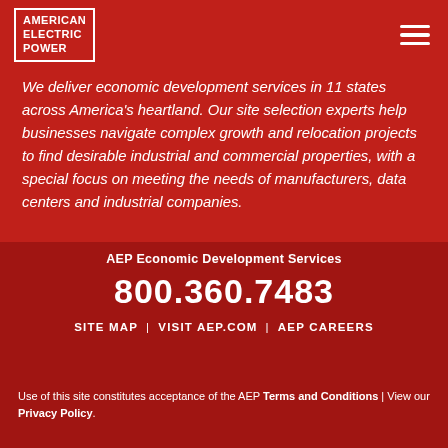[Figure (logo): American Electric Power logo — white text in a white-bordered box reading AMERICAN ELECTRIC POWER]
We deliver economic development services in 11 states across America's heartland. Our site selection experts help businesses navigate complex growth and relocation projects to find desirable industrial and commercial properties, with a special focus on meeting the needs of manufacturers, data centers and industrial companies.
AEP Economic Development Services
800.360.7483
SITE MAP | VISIT AEP.COM | AEP CAREERS
Use of this site constitutes acceptance of the AEP Terms and Conditions | View our Privacy Policy.